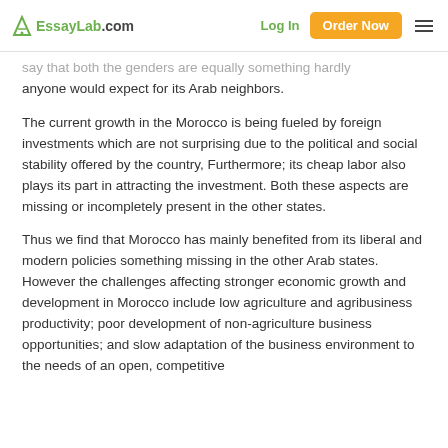EssayLab.com | Log In | Order Now
say that both the genders are equally something hardly anyone would expect for its Arab neighbors.
The current growth in the Morocco is being fueled by foreign investments which are not surprising due to the political and social stability offered by the country, Furthermore; its cheap labor also plays its part in attracting the investment. Both these aspects are missing or incompletely present in the other states.
Thus we find that Morocco has mainly benefited from its liberal and modern policies something missing in the other Arab states. However the challenges affecting stronger economic growth and development in Morocco include low agriculture and agribusiness productivity; poor development of non-agriculture business opportunities; and slow adaptation of the business environment to the needs of an open, competitive